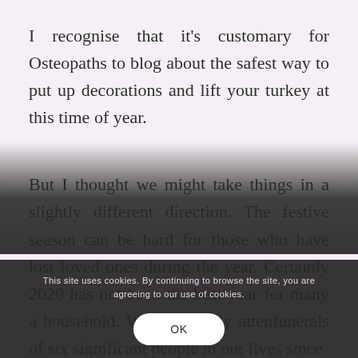I recognise that it's customary for Osteopaths to blog about the safest way to put up decorations and lift your turkey at this time of year.
But I thought we might take things in a slightly different direction. The festive season can be hard for those who have lost loved ones during the year. Certainly 2020 has not been the best year for many a household. We have sadly attended the funerals of six significant people in our lives since
This site uses cookies. By continuing to browse the site, you are agreeing to our use of cookies.